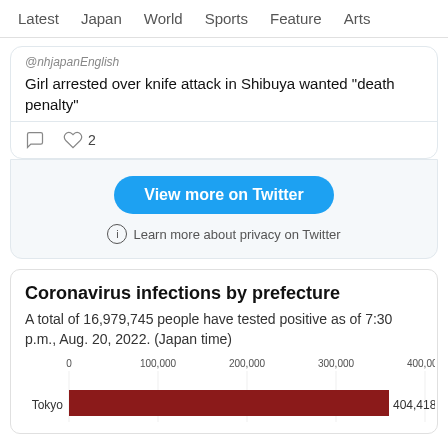Latest  Japan  World  Sports  Feature  Arts
@nhjapanEnglish
Girl arrested over knife attack in Shibuya wanted "death penalty"
♡ 2
View more on Twitter
ⓘ Learn more about privacy on Twitter
Coronavirus infections by prefecture
A total of 16,979,745 people have tested positive as of 7:30 p.m., Aug. 20, 2022. (Japan time)
[Figure (bar-chart): Coronavirus infections by prefecture]